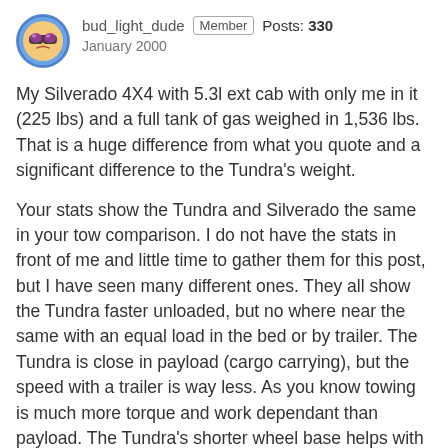bud_light_dude  Member  Posts: 330  January 2000
My Silverado 4X4 with 5.3l ext cab with only me in it (225 lbs) and a full tank of gas weighed in 1,536 lbs. That is a huge difference from what you quote and a significant difference to the Tundra's weight.
Your stats show the Tundra and Silverado the same in your tow comparison. I do not have the stats in front of me and little time to gather them for this post, but I have seen many different ones. They all show the Tundra faster unloaded, but no where near the same with an equal load in the bed or by trailer. The Tundra is close in payload (cargo carrying), but the speed with a trailer is way less. As you know towing is much more torque and work dependant than payload. The Tundra's shorter wheel base helps with it's payload capacity.
The rated tow capacity of my Silverado is 8,100 lbs. That is plastered on about every test done and marketing brochure GM puts out. There is not a full size 1/2 ton domestic that